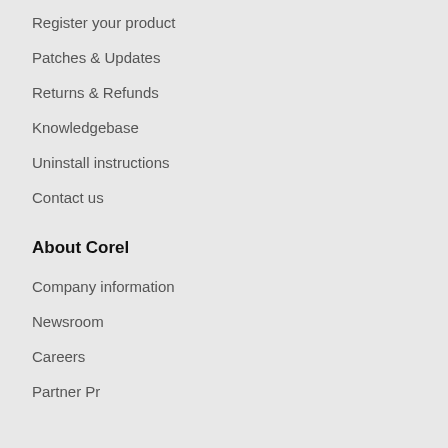Register your product
Patches & Updates
Returns & Refunds
Knowledgebase
Uninstall instructions
Contact us
About Corel
Company information
Newsroom
Careers
Partner Pro...